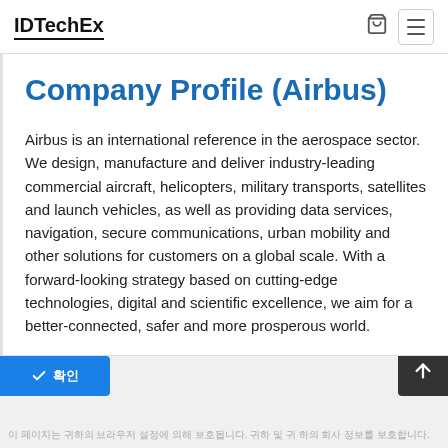IDTechEx
Company Profile (Airbus)
Airbus is an international reference in the aerospace sector. We design, manufacture and deliver industry-leading commercial aircraft, helicopters, military transports, satellites and launch vehicles, as well as providing data services, navigation, secure communications, urban mobility and other solutions for customers on a global scale. With a forward-looking strategy based on cutting-edge technologies, digital and scientific excellence, we aim for a better-connected, safer and more prosperous world.
이 페이지는 귀하의 브라우저 설정에 의해 보호됩니다. 귀하 및 귀 하의 회사 정보를 보호합니다.